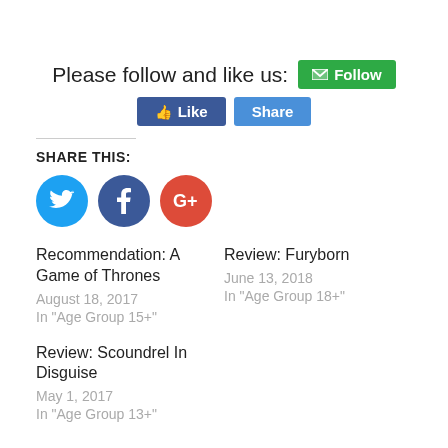Please follow and like us: [Follow button] [Like button] [Share button]
SHARE THIS:
[Figure (infographic): Three social media circle icons: Twitter (blue), Facebook (dark blue), Google+ (red)]
Recommendation: A Game of Thrones
August 18, 2017
In "Age Group 15+"
Review: Furyborn
June 13, 2018
In "Age Group 18+"
Review: Scoundrel In Disguise
May 1, 2017
In "Age Group 13+"